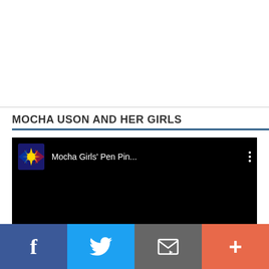MOCHA USON AND HER GIRLS
[Figure (screenshot): YouTube-style video thumbnail showing channel logo with Philippine flag design and text 'Mocha Girls' Pen Pin...' with three-dot menu on black background]
[Figure (other): Social sharing bar with four buttons: Facebook (f icon), Twitter (bird icon), Email (envelope icon), and Plus (+) button]